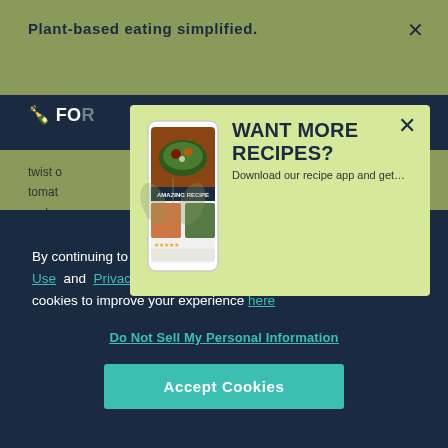Plant-based eating simplified.
[Figure (screenshot): Recipe app promotional modal with phone image showing food app, wheat leaf decoration, headline 'WANT MORE RECIPES?', and 'Download our recipe app and get...' text on a light green background]
By continuing to browse our site, you agree to our Terms of Use and Privacy Policy. You can learn more about how we use cookies to improve your experience here
Do Not Sell My Personal Information
Accept Cookies